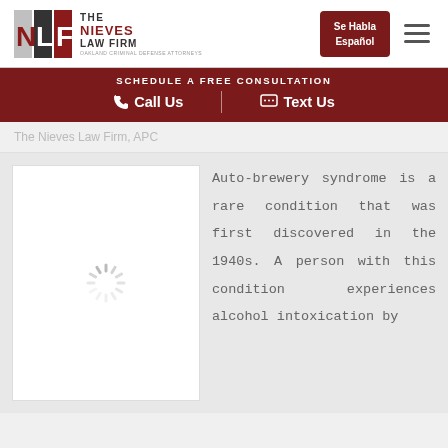[Figure (logo): The Nieves Law Firm logo with NLF initials in red and black, with text THE NIEVES LAW FIRM and OAKLAND CRIMINAL DEFENSE ATTORNEYS]
Se Habla Español
SCHEDULE A FREE CONSULTATION
Call Us   Text Us
The Nieves Law Firm, APC
[Figure (other): Loading spinner icon (spinning wheel)]
Auto-brewery syndrome is a rare condition that was first discovered in the 1940s. A person with this condition experiences alcohol intoxication by